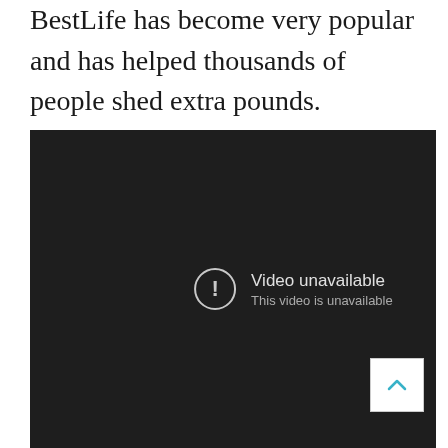BestLife has become very popular and has helped thousands of people shed extra pounds.
[Figure (screenshot): Embedded video player showing 'Video unavailable – This video is unavailable' message on a dark background, with a scroll-to-top button in the bottom-right corner.]